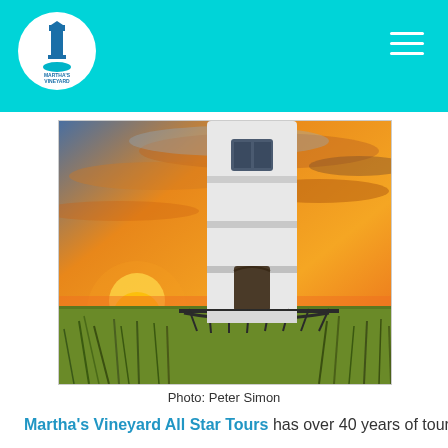Martha's Vineyard Chamber of Commerce
[Figure (photo): A white lighthouse at sunset with golden-orange sky and tall grass in the foreground]
Photo: Peter Simon
Martha's Vineyard All Star Tours has over 40 years of tour